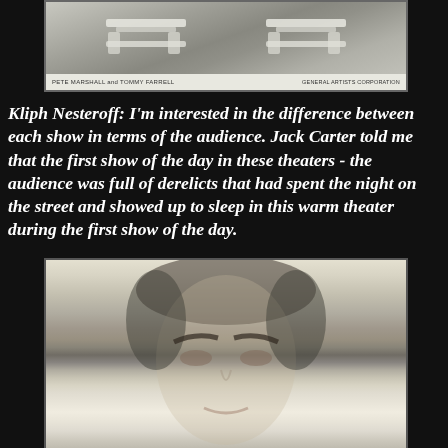[Figure (photo): Black and white photo of Pete Marshall and Tommy Farrell with chairs or set pieces, with caption bar showing their names and General Artists Corporation]
Kliph Nesteroff: I'm interested in the difference between each show in terms of the audience. Jack Carter told me that the first show of the day in these theaters - the audience was full of derelicts that had spent the night on the street and showed up to sleep in this warm theater during the first show of the day.
[Figure (photo): Black and white headshot portrait of a man with dark hair, looking directly at camera]